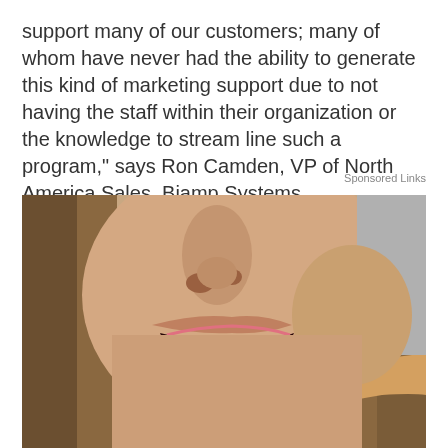support many of our customers; many of whom have never had the ability to generate this kind of marketing support due to not having the staff within their organization or the knowledge to stream line such a program," says Ron Camden, VP of North America Sales, Biamp Systems.
Sponsored Links
[Figure (photo): Close-up photo of a woman smiling, holding a pink interdental brush or small toothbrush against her teeth with one finger]